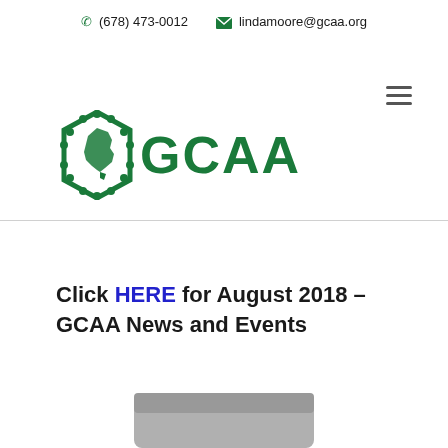☎ (678) 473-0012   ✉ lindamoore@gcaa.org
[Figure (logo): GCAA logo: green hexagon shape with Georgia state outline inside, followed by bold green text GCAA]
Click HERE for August 2018 – GCAA News and Events
[Figure (photo): Partial image of a gray card or document visible at the bottom of the page]